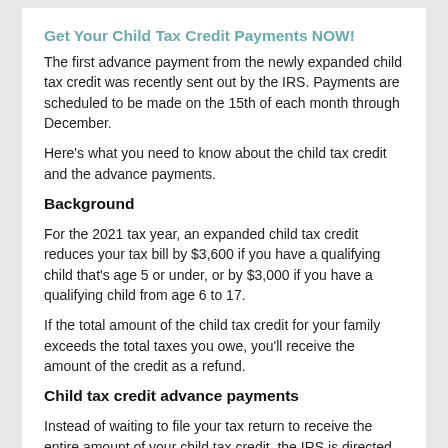Get Your Child Tax Credit Payments NOW!
The first advance payment from the newly expanded child tax credit was recently sent out by the IRS. Payments are scheduled to be made on the 15th of each month through December.
Here's what you need to know about the child tax credit and the advance payments.
Background
For the 2021 tax year, an expanded child tax credit reduces your tax bill by $3,600 if you have a qualifying child that's age 5 or under, or by $3,000 if you have a qualifying child from age 6 to 17.
If the total amount of the child tax credit for your family exceeds the total taxes you owe, you'll receive the amount of the credit as a refund.
Child tax credit advance payments
Instead of waiting to file your tax return to receive the entire amount of your child tax credit, the IRS is directed by Congress to send 50% of the credit to you in six monthly payments beginning in July 2021.